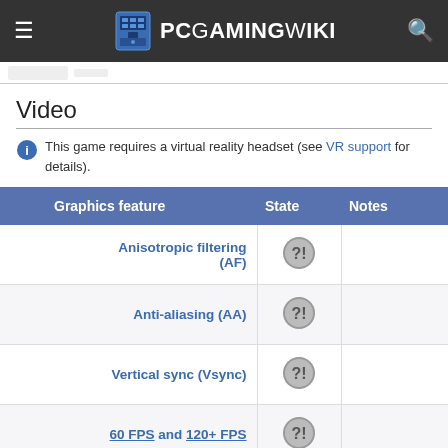PCGamingWiki
Video
This game requires a virtual reality headset (see VR support for details).
| Graphics feature | State | Notes |
| --- | --- | --- |
| Anisotropic filtering (AF) | ?! |  |
| Anti-aliasing (AA) | ?! |  |
| Vertical sync (Vsync) | ?! |  |
| 60 FPS and 120+ FPS | ?! |  |
Input